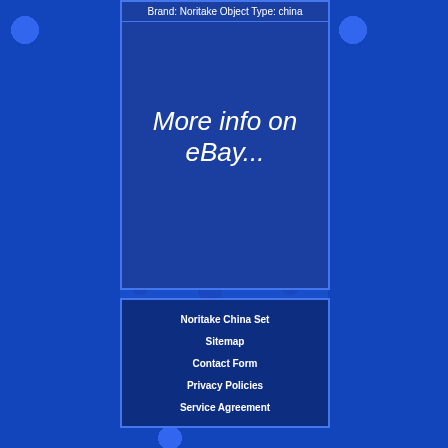Brand: Noritake Object Type: china
More info on eBay...
Noritake China Set
Sitemap
Contact Form
Privacy Policies
Service Agreement